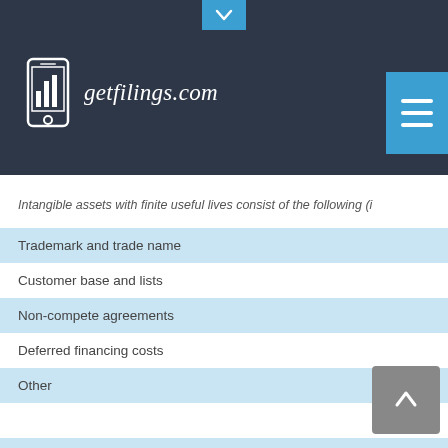getfilings.com
Intangible assets with finite useful lives consist of the following (i
| Item |
| --- |
| Trademark and trade name |
| Customer base and lists |
| Non-compete agreements |
| Deferred financing costs |
| Other |
| Less accumulated amortization |